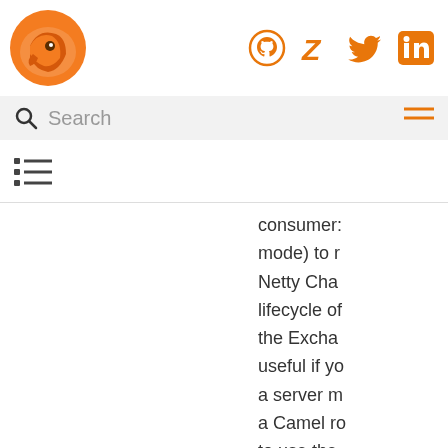[Figure (logo): Orange fox/camel bird logo]
[Figure (infographic): Social icons: GitHub, Zotero, Twitter, LinkedIn in orange]
[Figure (screenshot): Search bar with magnifying glass icon and placeholder text 'Search', and hamburger menu icon]
[Figure (infographic): Table of contents list icon]
consumer: mode) to r Netty Cha lifecycle of the Exchar useful if yo a server m a Camel ro to use the connection this, the cl returned t